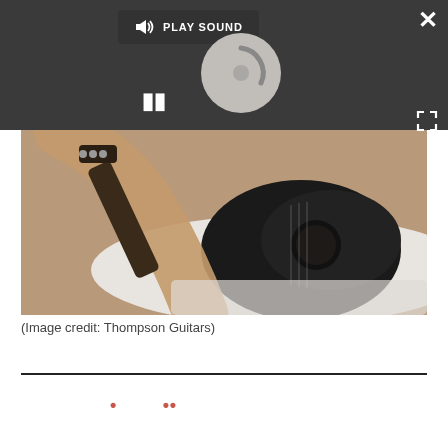[Figure (screenshot): Media player overlay with PLAY SOUND button, close X button, loading spinner, pause button, and expand/fullscreen button on dark background]
[Figure (photo): Person playing acoustic guitar, sitting on a white fluffy rug on a wooden floor, holding the guitar body and neck]
(Image credit: Thompson Guitars)
[Figure (other): Partial red/dark text visible at bottom of page, cut off]